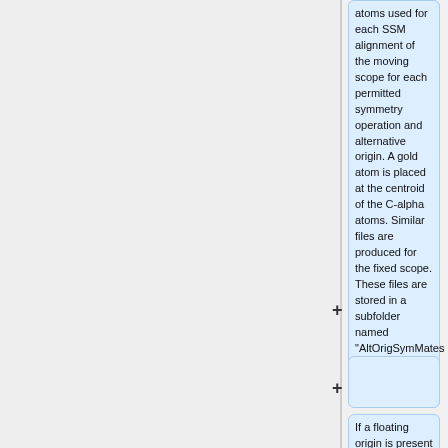atoms used for each SSM alignment of the moving scope for each permitted symmetry operation and alternative origin. A gold atom is placed at the centroid of the C-alpha atoms. Similar files are produced for the fixed scope. These files are stored in a subfolder named "AltOrigSymMates Files".
If a floating origin is present in the space group a table of MLAD